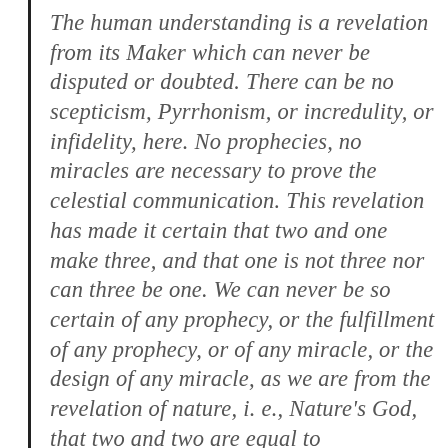The human understanding is a revelation from its Maker which can never be disputed or doubted. There can be no scepticism, Pyrrhonism, or incredulity, or infidelity, here. No prophecies, no miracles are necessary to prove the celestial communication. This revelation has made it certain that two and one make three, and that one is not three nor can three be one. We can never be so certain of any prophecy, or the fulfillment of any prophecy, or of any miracle, or the design of any miracle, as we are from the revelation of nature, i. e., Nature's God, that two and two are equal to